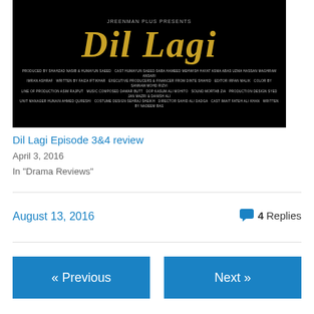[Figure (photo): Movie poster for 'Dil Lagi' on black background with gold stylized title text and production credits]
Dil Lagi Episode 3&4 review
April 3, 2016
In "Drama Reviews"
August 13, 2016
4 Replies
« Previous
Next »